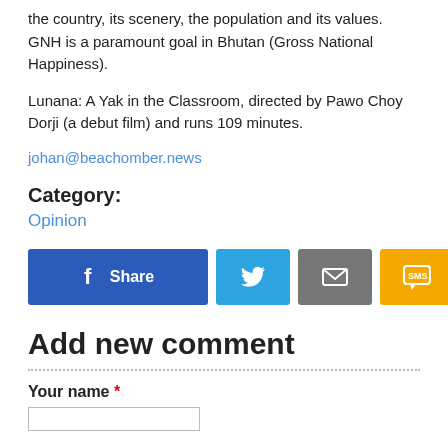the country, its scenery, the population and its values. GNH is a paramount goal in Bhutan (Gross National Happiness).
Lunana: A Yak in the Classroom, directed by Pawo Choy Dorji (a debut film) and runs 109 minutes.
johan@beachomber.news
Category:
Opinion
[Figure (infographic): Social share buttons: Facebook Share, Twitter, Email, SMS]
Add new comment
Your name *